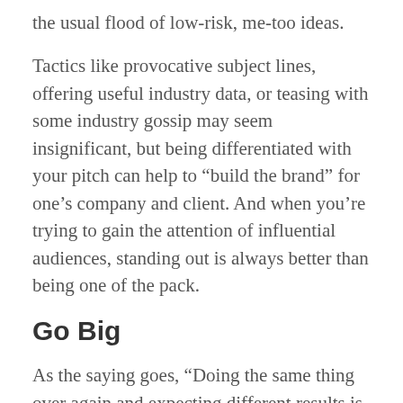the usual flood of low-risk, me-too ideas.
Tactics like provocative subject lines, offering useful industry data, or teasing with some industry gossip may seem insignificant, but being differentiated with your pitch can help to “build the brand” for one’s company and client. And when you’re trying to gain the attention of influential audiences, standing out is always better than being one of the pack.
Go Big
As the saying goes, “Doing the same thing over again and expecting different results is the definition of insanity.” Repeating the